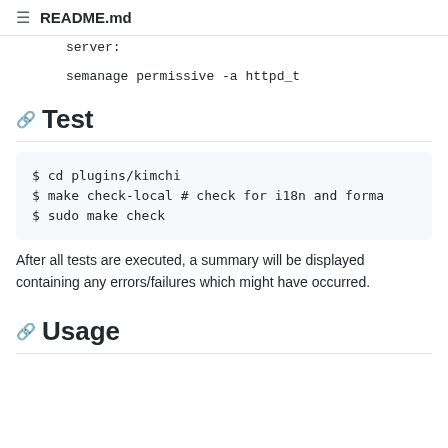README.md
server:
semanage permissive -a httpd_t
Test
$ cd plugins/kimchi
$ make check-local # check for i18n and forma
$ sudo make check
After all tests are executed, a summary will be displayed containing any errors/failures which might have occurred.
Usage